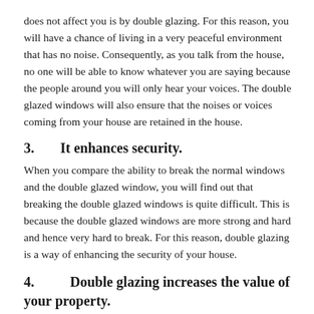does not affect you is by double glazing. For this reason, you will have a chance of living in a very peaceful environment that has no noise. Consequently, as you talk from the house, no one will be able to know whatever you are saying because the people around you will only hear your voices. The double glazed windows will also ensure that the noises or voices coming from your house are retained in the house.
3.        It enhances security.
When you compare the ability to break the normal windows and the double glazed window, you will find out that breaking the double glazed windows is quite difficult. This is because the double glazed windows are more strong and hard and hence very hard to break. For this reason, double glazing is a way of enhancing the security of your house.
4.        Double glazing increases the value of your property.
Double glazing ensures that your house is not only insulated but also very comfortable. For this reason, double